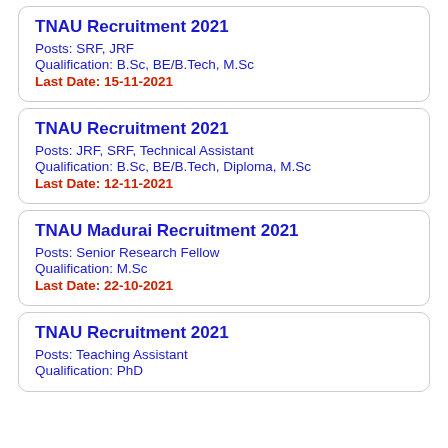TNAU Recruitment 2021
Posts: SRF, JRF
Qualification: B.Sc, BE/B.Tech, M.Sc
Last Date: 15-11-2021
TNAU Recruitment 2021
Posts: JRF, SRF, Technical Assistant
Qualification: B.Sc, BE/B.Tech, Diploma, M.Sc
Last Date: 12-11-2021
TNAU Madurai Recruitment 2021
Posts: Senior Research Fellow
Qualification: M.Sc
Last Date: 22-10-2021
TNAU Recruitment 2021
Posts: Teaching Assistant
Qualification: PhD